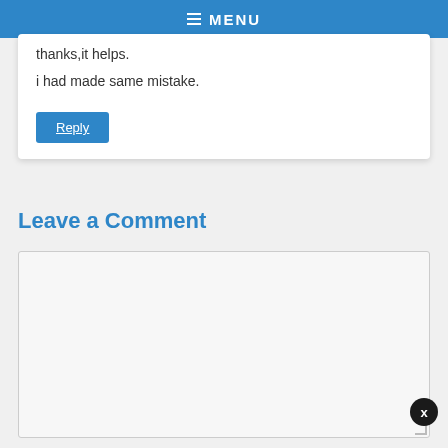MENU
thanks,it helps.
i had made same mistake.
Reply
Leave a Comment